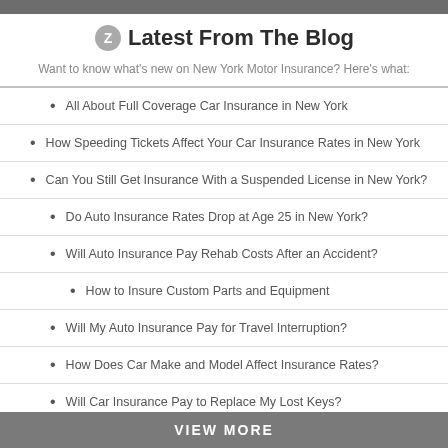Latest From The Blog
Want to know what's new on New York Motor Insurance? Here's what:
All About Full Coverage Car Insurance in New York
How Speeding Tickets Affect Your Car Insurance Rates in New York
Can You Still Get Insurance With a Suspended License in New York?
Do Auto Insurance Rates Drop at Age 25 in New York?
Will Auto Insurance Pay Rehab Costs After an Accident?
How to Insure Custom Parts and Equipment
Will My Auto Insurance Pay for Travel Interruption?
How Does Car Make and Model Affect Insurance Rates?
Will Car Insurance Pay to Replace My Lost Keys?
VIEW MORE